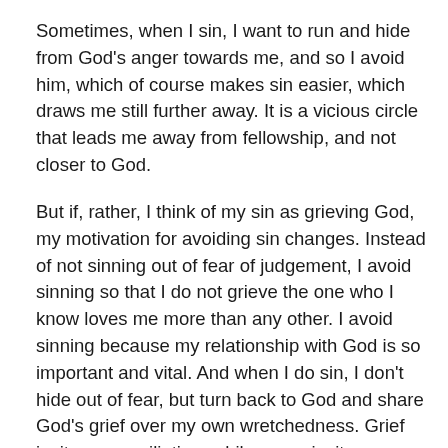Sometimes, when I sin, I want to run and hide from God's anger towards me, and so I avoid him, which of course makes sin easier, which draws me still further away. It is a vicious circle that leads me away from fellowship, and not closer to God.
But if, rather, I think of my sin as grieving God, my motivation for avoiding sin changes. Instead of not sinning out of fear of judgement, I avoid sinning so that I do not grieve the one who I know loves me more than any other. I avoid sinning because my relationship with God is so important and vital. And when I do sin, I don't hide out of fear, but turn back to God and share God's grief over my own wretchedness. Grief invites reconciliation, while anger invites avoidance.
Our sin wounds God because we are intimately connected